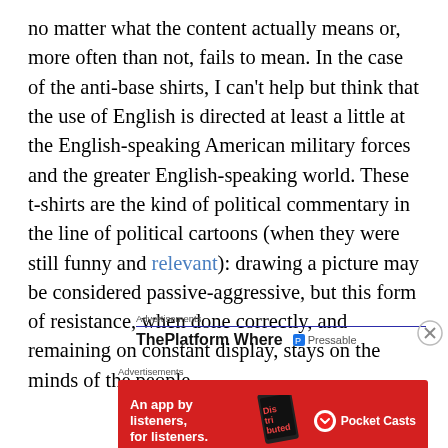no matter what the content actually means or, more often than not, fails to mean. In the case of the anti-base shirts, I can't help but think that the use of English is directed at least a little at the English-speaking American military forces and the greater English-speaking world. These t-shirts are the kind of political commentary in the line of political cartoons (when they were still funny and relevant): drawing a picture may be considered passive-aggressive, but this form of resistance, when done correctly, and remaining on constant display, stays on the minds of the people.
Advertisements
[Figure (screenshot): Advertisement banner showing 'ThePlatform Where' title with Pressable logo on right side, separated by a blue horizontal line under 'Advertisements' label]
[Figure (screenshot): Close button (X in circle) for advertisement]
Advertisements
[Figure (screenshot): Red advertisement banner for Pocket Casts with text 'An app by listeners, for listeners.' and a phone image showing 'Distributed' text, with Pocket Casts logo and name]